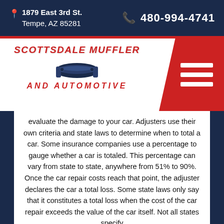1879 East 3rd St. Tempe, AZ 85281 | 480-994-4741
[Figure (logo): Scottsdale Muffler and Automotive logo with muffler icon in red and navy]
evaluate the damage to your car. Adjusters use their own criteria and state laws to determine when to total a car. Some insurance companies use a percentage to gauge whether a car is totaled. This percentage can vary from state to state, anywhere from 51% to 90%. Once the car repair costs reach that point, the adjuster declares the car a total loss. Some state laws only say that it constitutes a total loss when the cost of the car repair exceeds the value of the car itself. Not all states specify